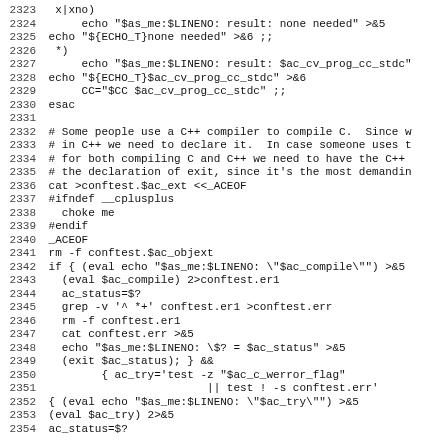Shell script source code lines 2323-2354 showing autoconf configure script
2323   x|xno)
2324       echo "$as_me:$LINENO: result: none needed" >&5
2325 echo "${ECHO_T}none needed" >&6 ;;
2326   *)
2327       echo "$as_me:$LINENO: result: $ac_cv_prog_cc_stdc"
2328 echo "${ECHO_T}$ac_cv_prog_cc_stdc" >&6
2329       CC="$CC $ac_cv_prog_cc_stdc" ;;
2330 esac
2331
2332 # Some people use a C++ compiler to compile C.  Since w
2333 # in C++ we need to declare it.  In case someone uses t
2334 # for both compiling C and C++ we need to have the C++
2335 # the declaration of exit, since it's the most demandin
2336 cat >conftest.$ac_ext <<_ACEOF
2337 #ifndef __cplusplus
2338   choke me
2339 #endif
2340 _ACEOF
2341 rm -f conftest.$ac_objext
2342 if { (eval echo "$as_me:$LINENO: \"$ac_compile\"") >&5
2343   (eval $ac_compile) 2>conftest.er1
2344   ac_status=$?
2345   grep -v '^ *+' conftest.er1 >conftest.err
2346   rm -f conftest.er1
2347   cat conftest.err >&5
2348   echo "$as_me:$LINENO: \$? = $ac_status" >&5
2349   (exit $ac_status); } &&
2350         { ac_try='test -z "$ac_c_werror_flag"
2351                         || test ! -s conftest.err'
2352 { (eval echo "$as_me:$LINENO: \"$ac_try\"") >&5
2353 (eval $ac_try) 2>&5
2354 ac_status=$?